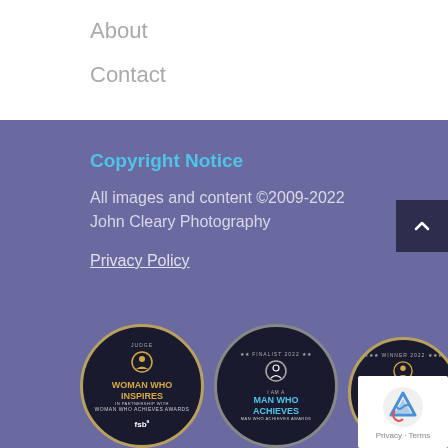About
Contact
Copyright Notice
All images and content ©2009-2022 John Cleary Photography
Privacy Policy
[Figure (logo): Three circular award badges: Woman Who Inspires (Judge, FSB), I Am A Man Who Achieves (Finalist 2022), Woman Who Achieves (Winner 2022, FSB). Plus reCAPTCHA badge in corner.]